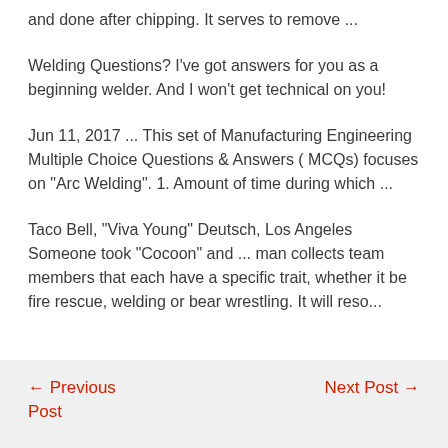and done after chipping. It serves to remove ...
Welding Questions? I've got answers for you as a beginning welder. And I won't get technical on you!
Jun 11, 2017 ... This set of Manufacturing Engineering Multiple Choice Questions & Answers ( MCQs) focuses on "Arc Welding". 1. Amount of time during which ...
Taco Bell, "Viva Young" Deutsch, Los Angeles Someone took "Cocoon" and ... man collects team members that each have a specific trait, whether it be fire rescue, welding or bear wrestling. It will reso...
← Previous Post   Next Post →
Post